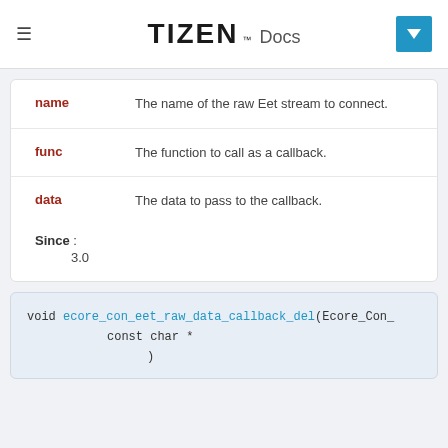TIZEN™ Docs
| Parameter | Description |
| --- | --- |
| name | The name of the raw Eet stream to connect. |
| func | The function to call as a callback. |
| data | The data to pass to the callback. |
Since : 3.0
void ecore_con_eet_raw_data_callback_del(Ecore_Con_ const char * )